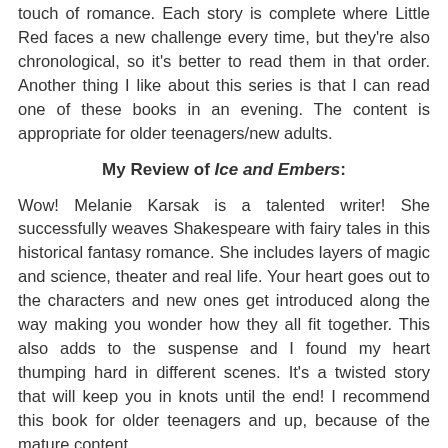touch of romance. Each story is complete where Little Red faces a new challenge every time, but they're also chronological, so it's better to read them in that order. Another thing I like about this series is that I can read one of these books in an evening. The content is appropriate for older teenagers/new adults.
My Review of Ice and Embers:
Wow! Melanie Karsak is a talented writer! She successfully weaves Shakespeare with fairy tales in this historical fantasy romance. She includes layers of magic and science, theater and real life. Your heart goes out to the characters and new ones get introduced along the way making you wonder how they all fit together. This also adds to the suspense and I found my heart thumping hard in different scenes. It's a twisted story that will keep you in knots until the end! I recommend this book for older teenagers and up, because of the mature content.